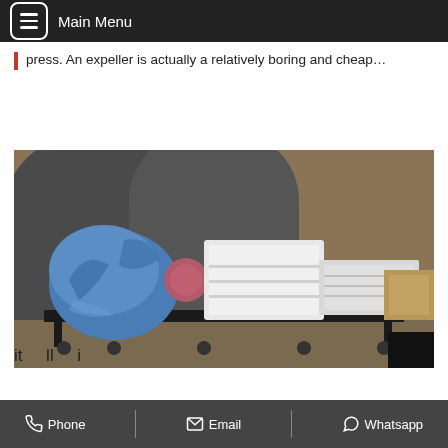Main Menu
press. An expeller is actually a relatively boring and cheap…
Get Price
[Figure (photo): Industrial oil expeller/press machine on a metal cart, partially wrapped in blue plastic sheeting, with white metal housing, photographed indoors near large cylindrical tanks]
it     ll     i
Phone   Email   Whatsapp